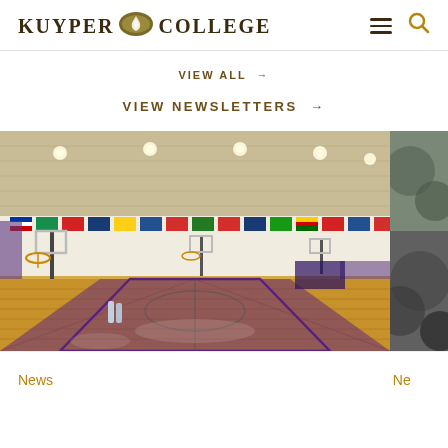KUYPER COLLEGE
VIEW ALL →
VIEW NEWSLETTERS →
[Figure (photo): Interior of the Kuyper College gymnasium/basketball court with hardwood floors featuring purple markings, basketball hoops, and international flags displayed along the upper walls. Bright overhead lighting illuminates the large open court space.]
[Figure (photo): Partial view of another image on the right edge, appears to show a decorative or artistic subject, clipped by the page edge.]
News
Ne